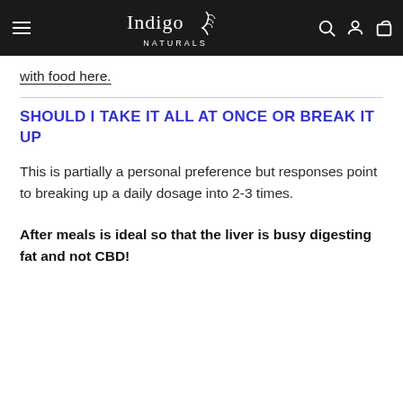Indigo Naturals
with food here.
SHOULD I TAKE IT ALL AT ONCE OR BREAK IT UP
This is partially a personal preference but responses point to breaking up a daily dosage into 2-3 times.
After meals is ideal so that the liver is busy digesting fat and not CBD!